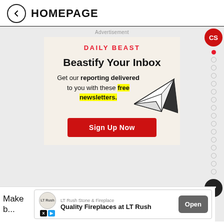← HOMEPAGE
Advertisement
[Figure (infographic): Daily Beast newsletter advertisement with headline 'Beastify Your Inbox', body text 'Get our reporting delivered to you with these free newsletters.', a paper airplane illustration, and a red 'Sign Up Now' call-to-action button]
Make
[Figure (infographic): LT Rush Stone & Fireplace ad banner: 'Quality Fireplaces at LT Rush' with Open button]